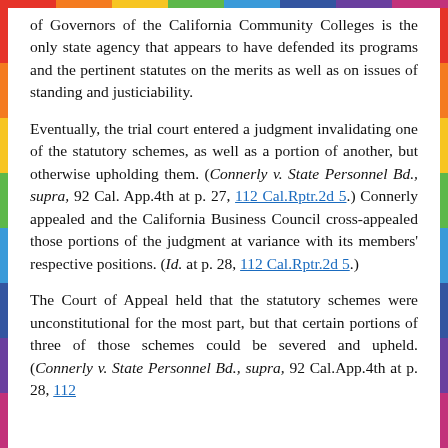of Governors of the California Community Colleges is the only state agency that appears to have defended its programs and the pertinent statutes on the merits as well as on issues of standing and justiciability.
Eventually, the trial court entered a judgment invalidating one of the statutory schemes, as well as a portion of another, but otherwise upholding them. (Connerly v. State Personnel Bd., supra, 92 Cal. App.4th at p. 27, 112 Cal.Rptr.2d 5.) Connerly appealed and the California Business Council cross-appealed those portions of the judgment at variance with its members' respective positions. (Id. at p. 28, 112 Cal.Rptr.2d 5.)
The Court of Appeal held that the statutory schemes were unconstitutional for the most part, but that certain portions of three of those schemes could be severed and upheld. (Connerly v. State Personnel Bd., supra, 92 Cal.App.4th at p. 28, 112